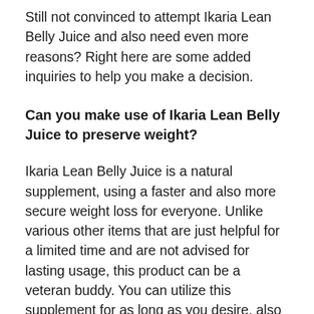Still not convinced to attempt Ikaria Lean Belly Juice and also need even more reasons? Right here are some added inquiries to help you make a decision.
Can you make use of Ikaria Lean Belly Juice to preserve weight?
Ikaria Lean Belly Juice is a natural supplement, using a faster and also more secure weight loss for everyone. Unlike various other items that are just helpful for a limited time and are not advised for lasting usage, this product can be a veteran buddy. You can utilize this supplement for as long as you desire, also after achieving your weight. Some customers have actually been using it to maintain their weight, as well as it is working